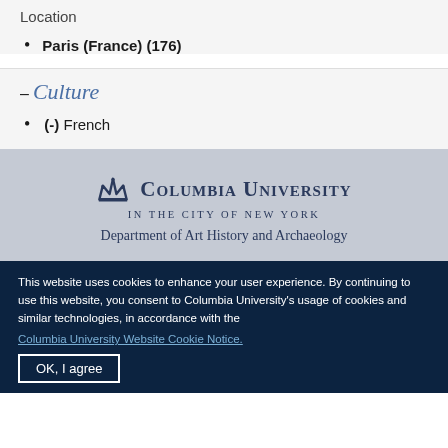Location
Paris (France) (176)
- Culture
(-) French
[Figure (logo): Columbia University in the City of New York crown logo with institution name]
Department of Art History and Archaeology
This website uses cookies to enhance your user experience. By continuing to use this website, you consent to Columbia University's usage of cookies and similar technologies, in accordance with the Columbia University Website Cookie Notice.
OK, I agree